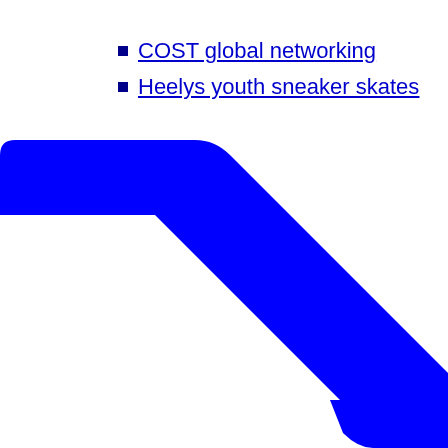COST global networking
Heelys youth sneaker skates
[Figure (illustration): A large blue rounded arrow/chevron shape pointing to the lower right, rendered as a thick blue diagonal bar with a bent right-angle corner, cropped at the bottom-right of the page.]